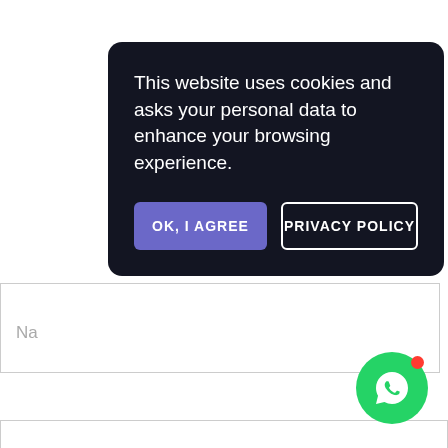This website uses cookies and asks your personal data to enhance your browsing experience.
OK, I AGREE
PRIVACY POLICY
Na
E-mail *
Post Comment
[Figure (illustration): WhatsApp icon green circle button with red notification dot]